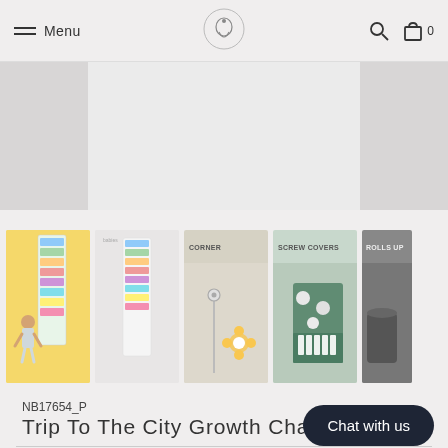Menu | Logo | Search | Bag
[Figure (photo): Main product image area showing a child's growth chart with colorful city buildings — partially visible/cropped at top]
[Figure (photo): Thumbnail carousel row: (1) yellow background with girl hugging growth chart, (2) full chart poster on white, (3) corner grommets for easy hanging detail, (4) screw covers included detail, (5) rolls up for easy storage — partially cut off]
NB17654_P
Trip To The City Growth Charts
$ 63.00
Pay in 4 interest-free installments of $
Learn more
STYLE
Chat with us